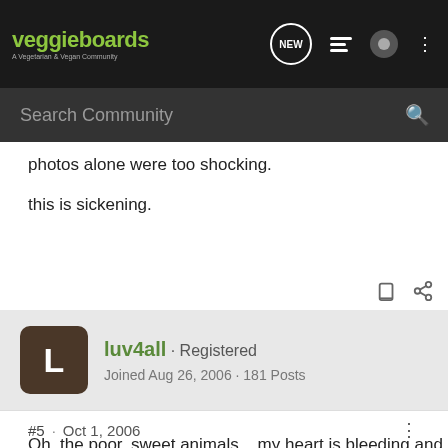veggieboards · A Vegetarian & Vegan Community
photos alone were too shocking.

this is sickening.
luv4all · Registered
Joined Aug 26, 2006 · 181 Posts
#5 · Oct 1, 2006
Oh, the poor, sweet animals... my heart is bleeding and longing